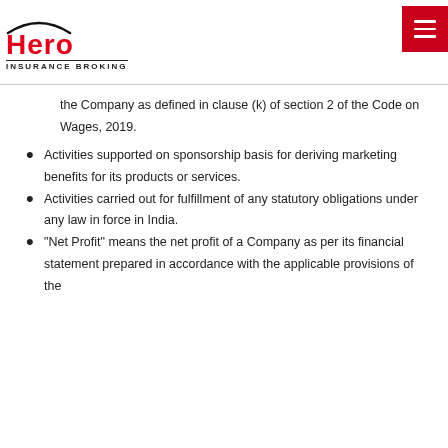Hero Insurance Broking
the Company as defined in clause (k) of section 2 of the Code on Wages, 2019.
Activities supported on sponsorship basis for deriving marketing benefits for its products or services.
Activities carried out for fulfillment of any statutory obligations under any law in force in India.
“Net Profit” means the net profit of a Company as per its financial statement prepared in accordance with the applicable provisions of the